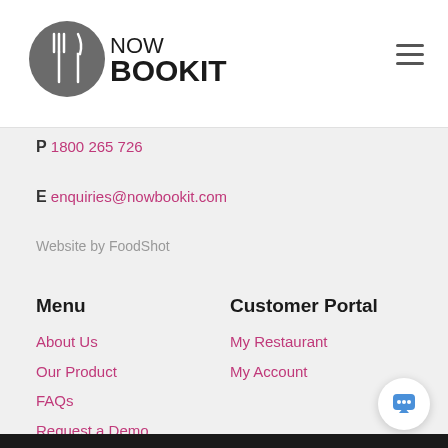[Figure (logo): NowBookIt logo: grey circle with white fork and knife icon, next to bold text NOW BOOKIT]
P 1800 265 726
E enquiries@nowbookit.com
Website by FoodShot
Menu
About Us
Our Product
FAQs
Request a Demo
Privacy Policy
Customer Portal
My Restaurant
My Account